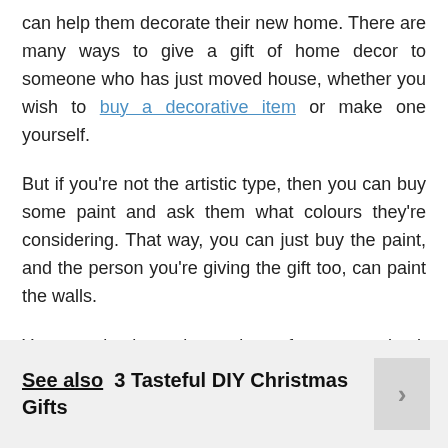can help them decorate their new home. There are many ways to give a gift of home decor to someone who has just moved house, whether you wish to buy a decorative item or make one yourself.
But if you're not the artistic type, then you can buy some paint and ask them what colours they're considering. That way, you can just buy the paint, and the person you're giving the gift too, can paint the walls.
You can also buy a large piece of canvas and ask them to paint whatever they want on it. This can really help them add a little personalised touch to their new home.
See also  3 Tasteful DIY Christmas Gifts